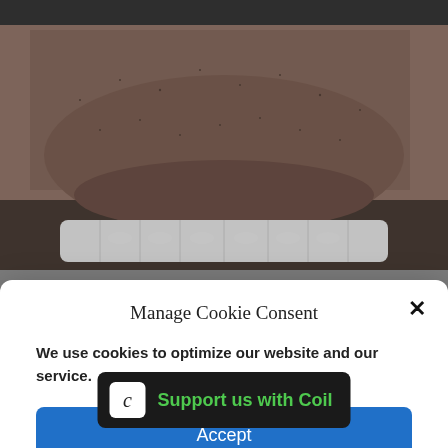[Figure (photo): Close-up macro photo of a man's lower face showing teeth and stubble beard, dark background]
[Figure (photo): Photo of a woman in red clothing with a shopping basket, red background, with a striped sleeve visible]
Manage Cookie Consent
We use cookies to optimize our website and our service.
Accept
Cookie Policy   Privacy statement
Support us with Coil